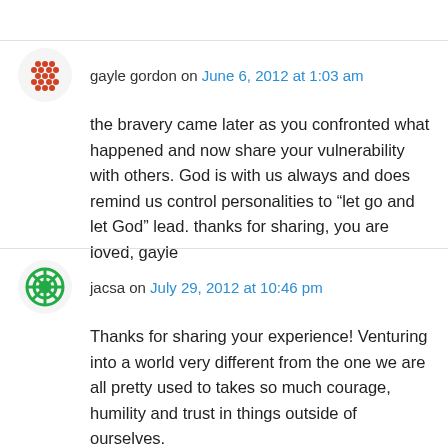gayle gordon on June 6, 2012 at 1:03 am
the bravery came later as you confronted what happened and now share your vulnerability with others. God is with us always and does remind us control personalities to “let go and let God” lead. thanks for sharing, you are loved, gayle
jacsa on July 29, 2012 at 10:46 pm
Thanks for sharing your experience! Venturing into a world very different from the one we are all pretty used to takes so much courage, humility and trust in things outside of ourselves. Hopefully you don’t take much time off of diving